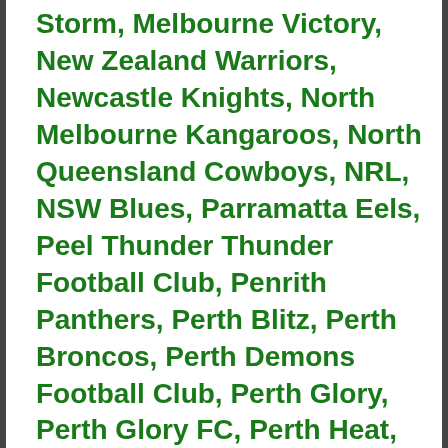Storm, Melbourne Victory, New Zealand Warriors, Newcastle Knights, North Melbourne Kangaroos, North Queensland Cowboys, NRL, NSW Blues, Parramatta Eels, Peel Thunder Thunder Football Club, Penrith Panthers, Perth Blitz, Perth Broncos, Perth Demons Football Club, Perth Glory, Perth Glory FC, Perth Heat, Perth Lynx, Perth Redbacks, Perth Spirit, Perth Wildcats, Port Adelaide Power, Queensland Maroons, Richmond Tigers, SmokeFree WA Thundersticks, Socceroos, South Fremantle Bulldogs Football Club, South Sydney Rabbitohs, St Kilda Saints, St. George Illawarra Dragons, Subiaco Lions Football Club, Subiaco Marist Cricket Club, Swan Districts Swans Football Club, Sydney